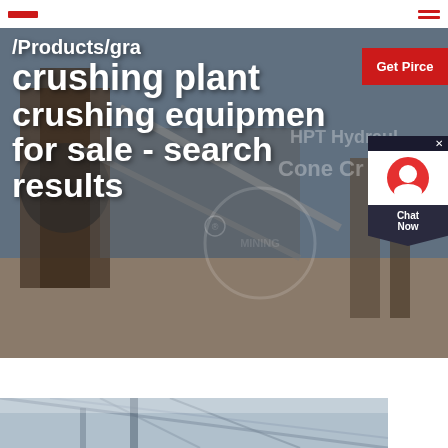[Figure (screenshot): Hero image of a granite crushing plant/equipment facility with large industrial machinery. Overlaid with large white bold text: /Products/gra... crushing plant crushing equipment for sale - search results. A red 'Get Pirce' button overlay, HPT Hydraulic Cone Crusher watermark text, and a chat widget on the right side.]
/Products/gra... crushing plant crushing equipment for sale - search results
[Figure (photo): Partial view of industrial/warehouse structure with metal framework and beams, light coming through the ceiling.]